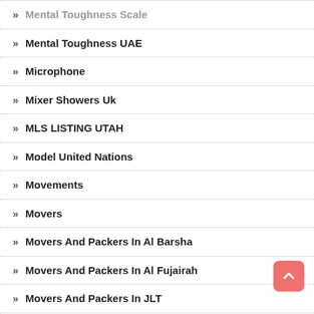Mental Toughness Scale
Mental Toughness UAE
Microphone
Mixer Showers Uk
MLS LISTING UTAH
Model United Nations
Movements
Movers
Movers And Packers In Al Barsha
Movers And Packers In Al Fujairah
Movers And Packers In JLT
Movers And Packers In Palm Jumeirah
Movers In Al Barsha
Moving